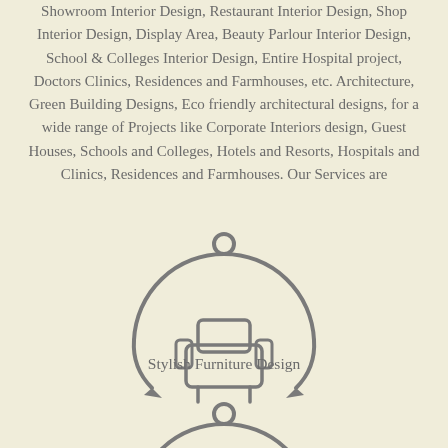Showroom Interior Design, Restaurant Interior Design, Shop Interior Design, Display Area, Beauty Parlour Interior Design, School & Colleges Interior Design, Entire Hospital project, Doctors Clinics, Residences and Farmhouses, etc. Architecture, Green Building Designs, Eco friendly architectural designs, for a wide range of Projects like Corporate Interiors design, Guest Houses, Schools and Colleges, Hotels and Resorts, Hospitals and Clinics, Residences and Farmhouses. Our Services are
[Figure (illustration): Circular arrow icon with a stylish armchair/sofa illustration in the center, arrows pointing downward on both sides of the circle, and a small circle on top. Drawn in grey outline style.]
Stylish Furniture Design
[Figure (illustration): Partial view of another circular arrow icon similar to the one above, cut off at the bottom of the page. Small circle on top visible.]